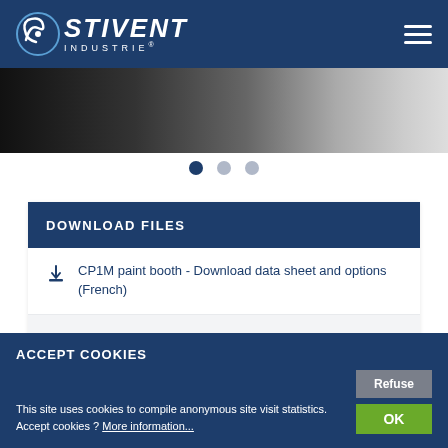STIVENT INDUSTRIE
[Figure (photo): Close-up photo of industrial equipment, dark tones with metallic surfaces]
[Figure (other): Carousel navigation dots: one filled (active), two empty]
DOWNLOAD FILES
CP1M paint booth - Download data sheet and options (French)
Download icon (second file, text cut off)
ACCEPT COOKIES
This site uses cookies to compile anonymous site visit statistics. Accept cookies ? More information...